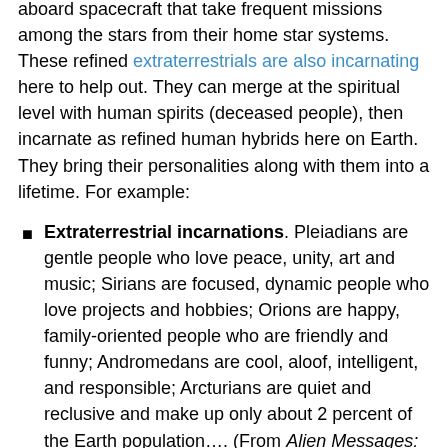aboard spacecraft that take frequent missions among the stars from their home star systems. These refined extraterrestrials are also incarnating here to help out. They can merge at the spiritual level with human spirits (deceased people), then incarnate as refined human hybrids here on Earth. They bring their personalities along with them into a lifetime. For example:
Extraterrestrial incarnations. Pleiadians are gentle people who love peace, unity, art and music; Sirians are focused, dynamic people who love projects and hobbies; Orions are happy, family-oriented people who are friendly and funny; Andromedans are cool, aloof, intelligent, and responsible; Arcturians are quiet and reclusive and make up only about 2 percent of the Earth population…. (From Alien Messages: News from